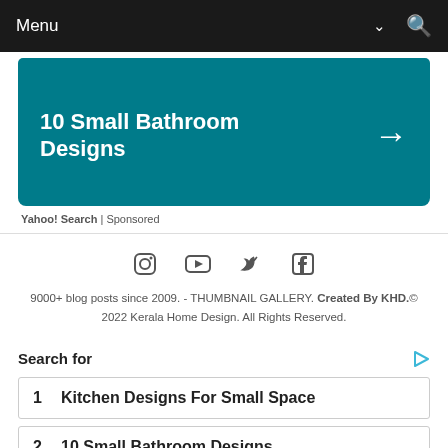Menu
[Figure (infographic): Teal rounded card with text '10 Small Bathroom Designs' and a right arrow, preceded by a teal top bar]
Yahoo! Search | Sponsored
[Figure (infographic): Social media icons: Instagram, YouTube, Twitter, Facebook]
9000+ blog posts since 2009. - THUMBNAIL GALLERY. Created By KHD.© 2022 Kerala Home Design. All Rights Reserved.
Search for
1  Kitchen Designs For Small Space
2  10 Small Bathroom Designs
Yahoo! Search | Sponsored